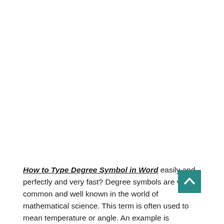How to Type Degree Symbol in Word easily and perfectly and very fast? Degree symbols are very common and well known in the world of mathematical science. This term is often used to mean temperature or angle. An example is